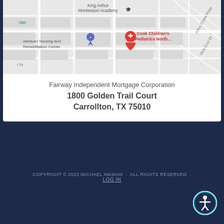[Figure (map): Google Maps screenshot showing the location of Fairway Independent Mortgage Corporation near Cook Children's Pediatrics North, King Arthur Montessori Academy, and Brookhaven Nursing and Rehabilitation Center in Carrollton, TX area. A red location pin marks the office location.]
Fairway Independent Mortgage Corporation
1800 Golden Trail Court
Carrollton, TX 75010
COPYRIGHT © 2022 MICHAEL INKMAN · ALL RIGHTS RESERVED · LOG IN